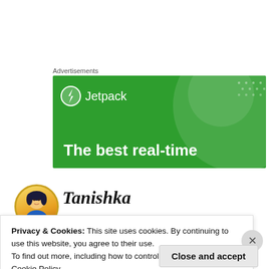Advertisements
[Figure (screenshot): Jetpack advertisement banner with green background showing the Jetpack logo (lightning bolt icon in a circle) and text 'The best real-time']
[Figure (illustration): Round avatar of an animated character (princess/Jasmine style illustration) with gold border]
Tanishka
Privacy & Cookies: This site uses cookies. By continuing to use this website, you agree to their use.
To find out more, including how to control cookies, see here: Cookie Policy